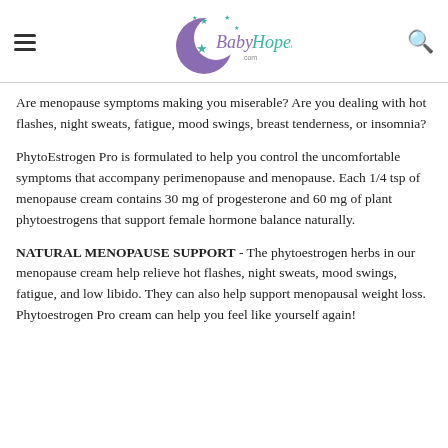BabyHopes.com
Are menopause symptoms making you miserable? Are you dealing with hot flashes, night sweats, fatigue, mood swings, breast tenderness, or insomnia?
PhytoEstrogen Pro is formulated to help you control the uncomfortable symptoms that accompany perimenopause and menopause. Each 1/4 tsp of menopause cream contains 30 mg of progesterone and 60 mg of plant phytoestrogens that support female hormone balance naturally.
NATURAL MENOPAUSE SUPPORT - The phytoestrogen herbs in our menopause cream help relieve hot flashes, night sweats, mood swings, fatigue, and low libido. They can also help support menopausal weight loss. Phytoestrogen Pro cream can help you feel like yourself again!